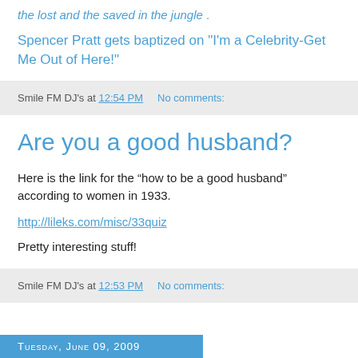the lost and the saved in the jungle .
Spencer Pratt gets baptized on "I'm a Celebrity-Get Me Out of Here!"
Smile FM DJ's at 12:54 PM   No comments:
Are you a good husband?
Here is the link for the “how to be a good husband” according to women in 1933.
http://lileks.com/misc/33quiz
Pretty interesting stuff!
Smile FM DJ's at 12:53 PM   No comments:
Tuesday, June 09, 2009